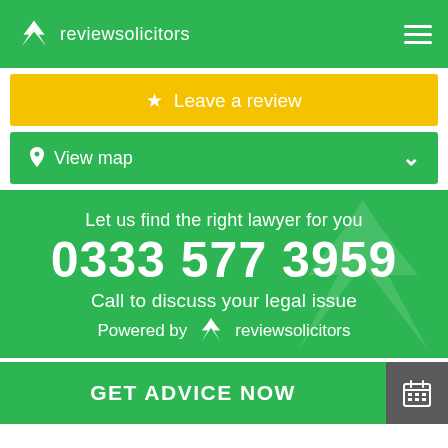reviewsolicitors
★ Leave a review
📍 View map
Let us find the right lawyer for you
0333 577 3959
Call to discuss your legal issue
Powered by reviewsolicitors
GET ADVICE NOW